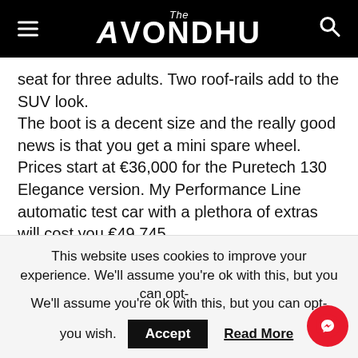The Avondhu
seat for three adults. Two roof-rails add to the SUV look.
The boot is a decent size and the really good news is that you get a mini spare wheel.
Prices start at €36,000 for the Puretech 130 Elegance version. My Performance Line automatic test car with a plethora of extras will cost you €49,745.
This website uses cookies to improve your experience. We'll assume you're ok with this, but you can opt-out if you wish.